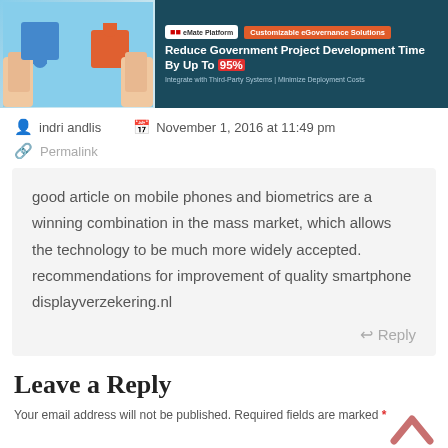[Figure (screenshot): Advertisement banner for eGoverness platform: customizable eGovernance solutions, showing puzzle pieces image on left and text on dark teal background on right.]
indri andlis   November 1, 2016 at 11:49 pm
Permalink
good article on mobile phones and biometrics are a winning combination in the mass market, which allows the technology to be much more widely accepted. recommendations for improvement of quality smartphone displayverzekering.nl
Reply
Leave a Reply
Your email address will not be published. Required fields are marked *